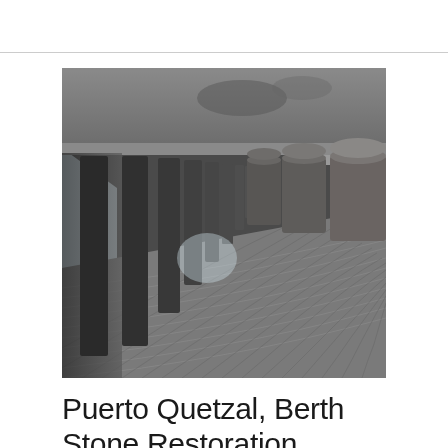[Figure (photo): Photograph taken under a pier or dock structure showing concrete columns/pillars supporting a slab overhead, with a textured surface of interwoven concrete-filled fabric mattress or articulated concrete block system covering the ground beneath. Perspective view looking along the length of the structure.]
Puerto Quetzal, Berth Stone Restoration